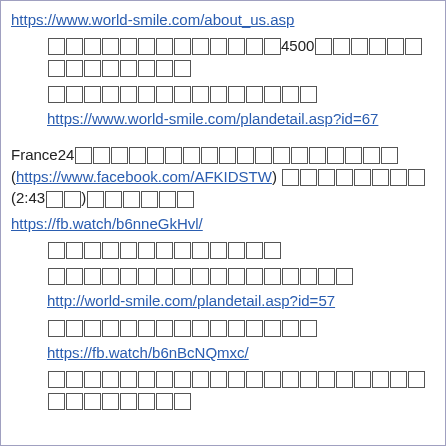https://www.world-smile.com/about_us.asp
□□□□□□□□□□□□□4500□□□□□□□□□□□□□□□□
□□□□□□□□□□□□□□□
https://www.world-smile.com/plandetail.asp?id=67
France24□□□□□□□□□□□□□□□□□□ (https://www.facebook.com/AFKIDSTW) □□□□□□□□(2:43□□)□□□□□□
https://fb.watch/b6nneGkHvl/
□□□□□□□□□□□□□
□□□□□□□□□□□□□□□□□
http://world-smile.com/plandetail.asp?id=57
□□□□□□□□□□□□□□□
https://fb.watch/b6nBcNQmxc/
□□□□□□□□□□□□□□□□□□□□□□□□□□□□□